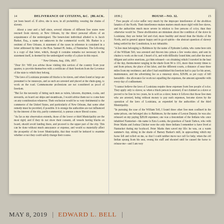14    DELIVERANCE OF CITIZENS, &c.  [Black.
yet been heard of. If alive, she is now, in all probability, wearing the chains of slavery. About a year and a half since, several citizens of different free states were rescued from slavery, at New Orleans, by the direct personal efforts of an acquaintance of the undersigned. The benevolent individual alluded to is Jacob Barker, Esq., a name not unknown in the commercial world. Mr. Barker is a resident of New Orleans. A statement of the cases in reference is contained in a letter addressed by him to the Hon. Samuel H. Jenks, of Nantucket. The following is a copy of that letter, which, though it contains remarks not necessary in the statement itself, is deemed by the undersigned worthy of a place in this report.
" New Orleans, Aug. 10th, 1837. "Dear Sir: Will you advise those visiting this section of the country from your quarter, to provide themselves with a certificate of their freedom from the Governor of the state to which they belong. "The laws of Louisiana presume all blacks to be slaves, and when found at large are presumed to be runaways, and as such are arrested and placed at the chain-gang, to work on the road. Commonsome professions are not considered as proof of freedom. "But for the necessity of hiring such men as valets, laborers, draymen, cooks, and stewards, on board our ships and steamboats, I would advise them not to come here on any consideration whatever. Their exclusion would be so very detrimental to the commerce of the United States, and particularly of New Orleans, that some other remedy must be provided, if possible. It is strange the authorities are not influenced by the interest of the city, partly commercial, to pursue a more liberal course. "As far as my observation extends, those of the lower or third Municipality are the most rigid; and if they do not show their consent, all vessels having blacks on board, should avoid landing there, and proceed to the upper part of the city. This can be done without much annoyance or expense, and would so materially affect the prosperity of the lower Municipality, that they would be induced to examine whether or not they could safely change their course.
1839.]    HOUSE—No. 32.    15
" Free people of color suffer very much by the improper interference of the abolition fanatics of the North. Their interference makes matters much more rigid with free slaves, and the authorities much more severe in relation to free persons of color, than they otherwise would be. These abolitionists are mistaken about the condition of the slave in Louisiana; they are better fed and clad, more healthy and moral than the blacks of the North, and in general appear happy and in good spirits—the abstract question of slavery being settled by the Constitution, is not debatable. "A free man belonging to Baltimore by the name of Ephraim Larkin, who came here sick of the William Tell, was arrested and thrown into prison a few weeks since, and sent in chains to work on the road. I heard of it, and with difficulty found him; and after the most diligent and active exertions, got him released—on obtaining which I traveled in the heat of the day, thermometer ranging in the shade from 94 to 101, more than twenty times to and from prison, the place of his labor, and the different courts, a distance of near three miles from my residence; and after I had established his freedom had to pay for his arrest, maintenance, and the advertising fee as a runaway slave, $29.89, as per copy of bill hereabith—the allowance for work not equalling the expenses, the amount agreeable with every day of confinement. "I cannot believe the laws of Louisiana require these expenses from free people of color. They apply only to slaves; so when a black person is arrested, if not claimed as a slave or proved to be free in two years, he is sold as a slave; hence it follows that those free men who are arrested, being without money to pay such expenses, become slaves by the operation of the laws of Louisiana, as expended by the authorities of the third Municipality. "In pursuing the case of the William Tell, I found three other free men confined in the same prison, one belonged also to Baltimore, by the name of Leston Deputy; he was also released on my paying $28.00 expenses; one was a descendant of the Indians who once inhabited Nantucket—his name is Ezra Loomis, the grandson of Sarah Tarbox, who with Peter Marks and Joshua Chicker were the only three Indians I remember to have lived at Nantucket during my boyhood. Peter Marks then saved my life: he was, on a warm summer's day, sitting in the shade of Barney Barker's mill, in approaching which my horse fell and rolled on me, so that I could neither move nor call for help; when the old Indian sprang from his seat, swung his staff and shouted until he caused the horse to release me—and I am very
MAY 8, 2019 | EDWARD L. BELL |